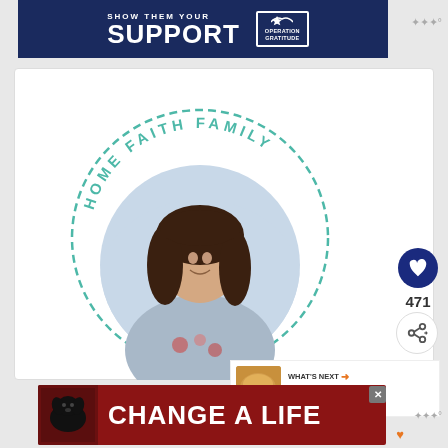[Figure (illustration): Banner ad: Show Them Your SUPPORT - Operation Gratitude logo on dark navy background]
[Figure (illustration): Home Faith Family blog logo: circular dashed teal border with text 'HOME FAITH FAMILY' arched at top, two pink dots as decorators, and a circular photo of a smiling woman with dark hair wearing a floral top, outdoor background]
471
[Figure (infographic): WHAT'S NEXT arrow label with thumbnail image of peach cobbler and text 'Easy Peach Cobbler...']
[Figure (illustration): Banner ad: CHANGE A LIFE - dark red/maroon background with black Labrador dog image on left]